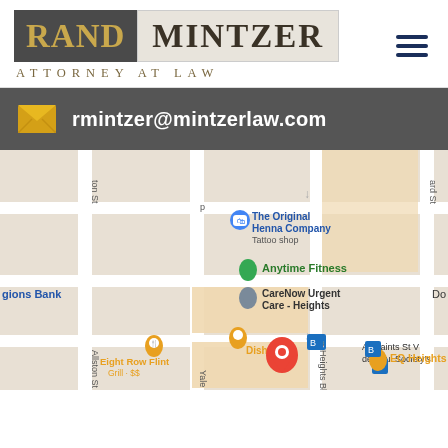[Figure (logo): Rand Mintzer Attorney at Law logo with dark gray RAND block and beige MINTZER block, subtitle ATTORNEY AT LAW in gold]
rmintzer@mintzerlaw.com
[Figure (map): Google Maps screenshot showing street map with location pins for The Original Henna Company (Tattoo shop), Anytime Fitness, CareNow Urgent Care - Heights, Dish Socie[ty], Eight Row Flint Grill, EQ Heights, and a red location pin for Rand Mintzer's office. Streets visible include Allston St, Yale St, Heights Blvd. Also shows Regions Bank and All Saints St Vincent de Paul Society's.]